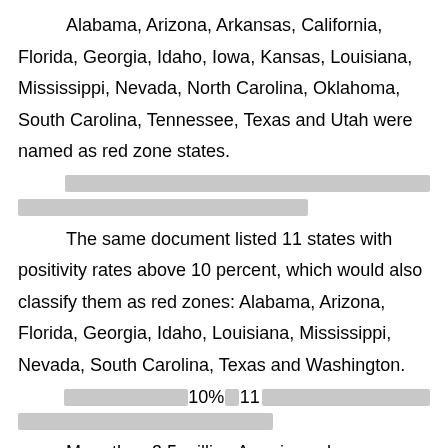Alabama, Arizona, Arkansas, California, Florida, Georgia, Idaho, Iowa, Kansas, Louisiana, Mississippi, Nevada, North Carolina, Oklahoma, South Carolina, Tennessee, Texas and Utah were named as red zone states.
[REDACTED LINE 1] [REDACTED LINE 2]
The same document listed 11 states with positivity rates above 10 percent, which would also classify them as red zones: Alabama, Arizona, Florida, Georgia, Idaho, Louisiana, Mississippi, Nevada, South Carolina, Texas and Washington.
[REDACTED containing 10% and 11] [REDACTED LINE 2]
More than 3.5 million Americans have contracted the coronavirus, according to the Centres for Disease Control and Prevention. And more than 137,000 have lost their lives.
[REDACTED containing 350 and 137]